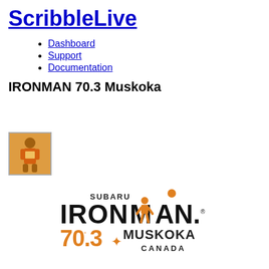ScribbleLive
Dashboard
Support
Documentation
IRONMAN 70.3 Muskoka
[Figure (photo): A person wearing an orange shirt/bib at what appears to be a triathlon event]
[Figure (logo): Subaru IRONMAN 70.3 Muskoka Canada logo with orange and black text]